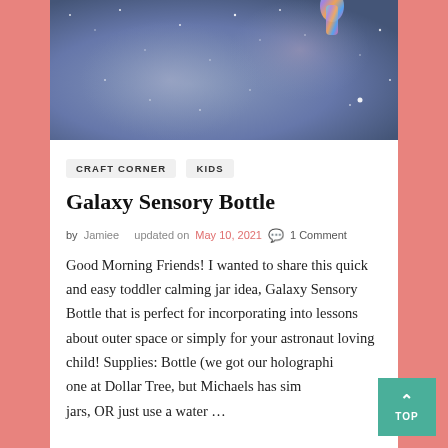[Figure (photo): Galaxy/space themed hero image with dark blue-grey starfield background and a colorful holographic bottle visible at the top right]
CRAFT CORNER
KIDS
Galaxy Sensory Bottle
by Jamiee   updated on May 10, 2021  💬 1 Comment
Good Morning Friends! I wanted to share this quick and easy toddler calming jar idea, Galaxy Sensory Bottle that is perfect for incorporating into lessons about outer space or simply for your astronaut loving child! Supplies: Bottle (we got our holographic one at Dollar Tree, but Michaels has sim jars, OR just use a water ...